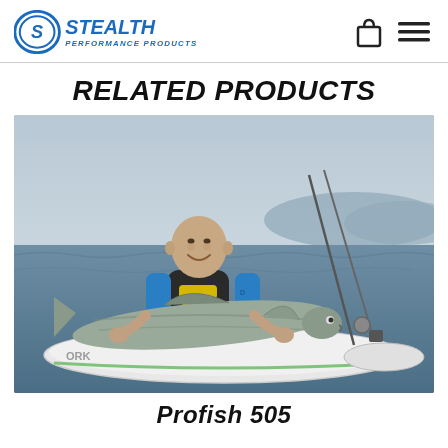Stealth Performance Products
RELATED PRODUCTS
[Figure (photo): A man sitting in a white kayak on the ocean, smiling and holding a large kingfish/wahoo across his lap. He is wearing a blue long-sleeve shirt and a black and yellow life vest. Fishing rods are visible behind him. The kayak has 'ORK' lettering visible on the side.]
Profish 505